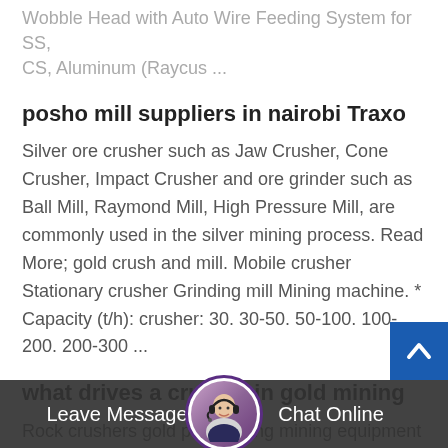Wobble Head with Auto Wire Feeding System for SS, CS, Aluminum (Raycus ...
posho mill suppliers in nairobi Traxo
Silver ore crusher such as Jaw Crusher, Cone Crusher, Impact Crusher and ore grinder such as Ball Mill, Raymond Mill, High Pressure Mill, are commonly used in the silver mining process. Read More; gold crush and mill. Mobile crusher Stationary crusher Grinding mill Mining machine. * Capacity (t/h): crusher: 30. 30-50. 50-100. 100-200. 200-300 ...
what drives a crusher in gold mining
Rock crushers gold prospecting mining equipment ,the average miner can instead purchase a crazycrusher manual ro...sher or an electri... g...crus... get t... smaller batches crus...s to ro...y...
[Figure (other): Blue back-to-top button with white chevron arrow]
[Figure (other): Dark chat bar overlay with Leave Message button, avatar headset photo, and Chat Online button]